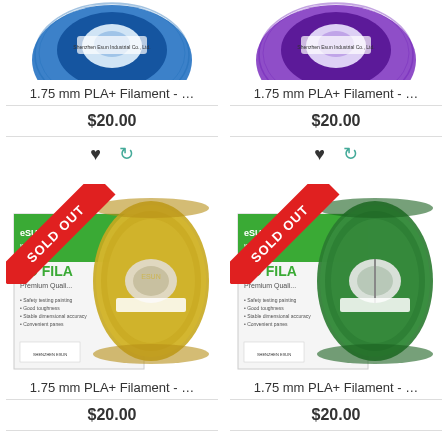[Figure (photo): Blue PLA+ filament spool (partially visible, top portion)]
1.75 mm PLA+ Filament - …
$20.00
[Figure (photo): Purple PLA+ filament spool (partially visible, top portion)]
1.75 mm PLA+ Filament - …
$20.00
[Figure (photo): Gold/yellow PLA+ filament spool with SOLD OUT banner and eSUN 3D FILA Premium Quality box]
1.75 mm PLA+ Filament - …
$20.00
[Figure (photo): Green PLA+ filament spool with SOLD OUT banner and eSUN 3D FILA Premium Quality box]
1.75 mm PLA+ Filament - …
$20.00